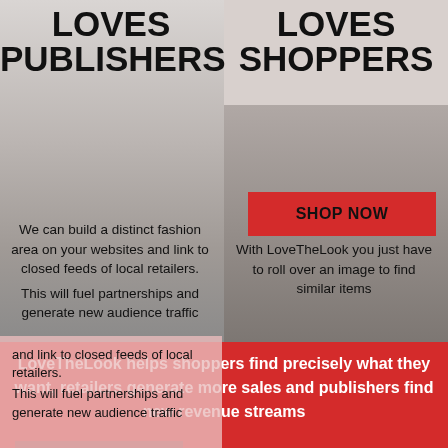LOVES PUBLISHERS
LOVES SHOPPERS
We can build a distinct fashion area on your websites and link to closed feeds of local retailers.
This will fuel partnerships and generate new audience traffic
With LoveTheLook you just have to roll over an image to find similar items
LoveTheLook helps shoppers find precisely what they want, retailers generate more sales and publishers find new revenue streams
SHOP NOW
JOIN NOW